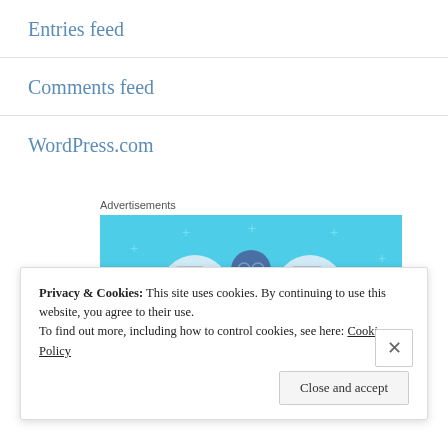Entries feed
Comments feed
WordPress.com
Advertisements
[Figure (illustration): WordPress advertisement banner with light blue background showing a cartoon person with a notebook and document icons on either side, with decorative sparkle/plus signs]
Privacy & Cookies: This site uses cookies. By continuing to use this website, you agree to their use. To find out more, including how to control cookies, see here: Cookie Policy
Close and accept